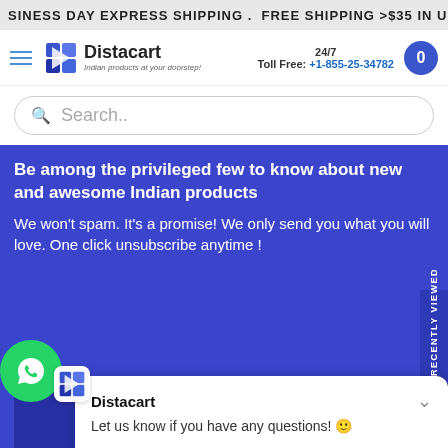BUSINESS DAY EXPRESS SHIPPING . FREE SHIPPING >$35 IN USA
[Figure (logo): Distacart logo with tagline 'Indian products at your doorstep!']
24/7 Toll Free: +1-855-25-34782
Search..
Be among the privileged few to know about new and awesome Indian products
We won't spam. It's a promise! We only send you what you will love. One click unsubscribe anytime !
Enter your email address...
sign up & say RECENTLY VIEWED
Distacart
Let us know if you have any questions! 😊